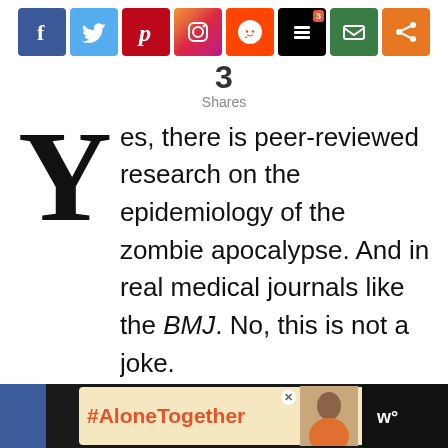[Figure (infographic): Social media share buttons bar: Facebook (blue), Twitter (light blue), Pinterest (red), Instagram (gradient), Reddit (orange), Buffer (black, badge '3'), Email (green), Share (orange)]
3
Shares
Yes, there is peer-reviewed research on the epidemiology of the zombie apocalypse. And in real medical journals like the BMJ. No, this is not a joke.
Zombies are known as biters, cold bodies, creepers, dead ones, floaters,
[Figure (infographic): #AloneTogether advertisement banner at bottom of page]